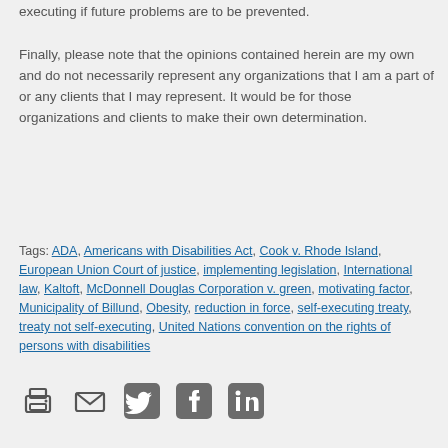executing if future problems are to be prevented.
Finally, please note that the opinions contained herein are my own and do not necessarily represent any organizations that I am a part of or any clients that I may represent. It would be for those organizations and clients to make their own determination.
Tags: ADA, Americans with Disabilities Act, Cook v. Rhode Island, European Union Court of justice, implementing legislation, International law, Kaltoft, McDonnell Douglas Corporation v. green, motivating factor, Municipality of Billund, Obesity, reduction in force, self-executing treaty, treaty not self-executing, United Nations convention on the rights of persons with disabilities
[Figure (infographic): Row of five social sharing icons: print, email, Twitter, Facebook, LinkedIn]